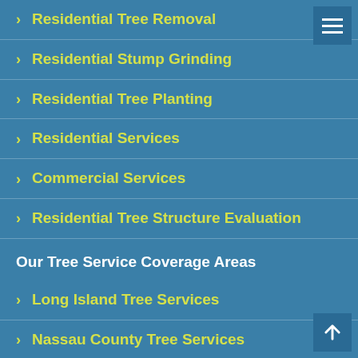Residential Tree Removal
Residential Stump Grinding
Residential Tree Planting
Residential Services
Commercial Services
Residential Tree Structure Evaluation
Our Tree Service Coverage Areas
Long Island Tree Services
Nassau County Tree Services
Suffolk County Tree Services